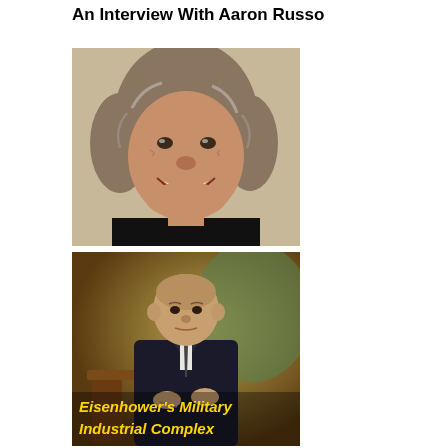An Interview With Aaron Russo
[Figure (photo): Headshot photo of Aaron Russo, a middle-aged man with curly gray-brown hair, smiling broadly, wearing a black shirt]
[Figure (photo): Portrait painting/photo of Eisenhower seated in a chair in a dark suit, holding glasses, against a golden-brown background, with yellow bold italic text overlay reading 'Eisenhower's Military Industrial Complex']
Eisenhower's Military Industrial Complex